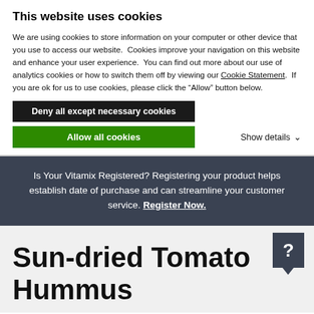This website uses cookies
We are using cookies to store information on your computer or other device that you use to access our website.  Cookies improve your navigation on this website and enhance your user experience.  You can find out more about our use of analytics cookies or how to switch them off by viewing our Cookie Statement.  If you are ok for us to use cookies, please click the “Allow” button below.
Deny all except necessary cookies
Allow all cookies
Show details
Is Your Vitamix Registered? Registering your product helps establish date of purchase and can streamline your customer service. Register Now.
Sun-dried Tomato Hummus